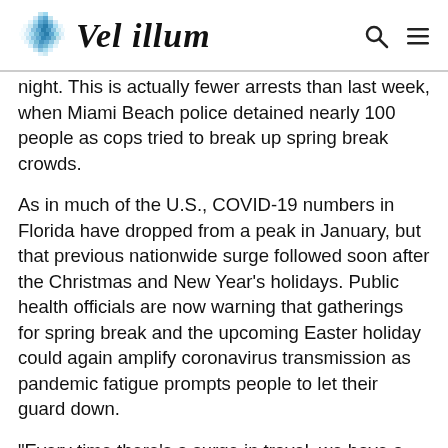Vel illum
night. This is actually fewer arrests than last week, when Miami Beach police detained nearly 100 people as cops tried to break up spring break crowds.
As in much of the U.S., COVID-19 numbers in Florida have dropped from a peak in January, but that previous nationwide surge followed soon after the Christmas and New Year's holidays. Public health officials are now warning that gatherings for spring break and the upcoming Easter holiday could again amplify coronavirus transmission as pandemic fatigue prompts people to let their guard down.
"Every time there's a surge in travel, we have a surge in cases in this country," the head of the Centers for Disease Control and Prevention, Dr. Rochelle Walensky, said this month. "We are really trying to